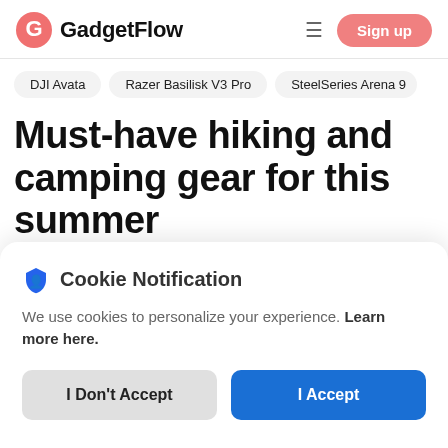GadgetFlow — Sign up
DJI Avata
Razer Basilisk V3 Pro
SteelSeries Arena 9
Must-have hiking and camping gear for this summer
Cookie Notification
We use cookies to personalize your experience. Learn more here.
I Don't Accept
I Accept